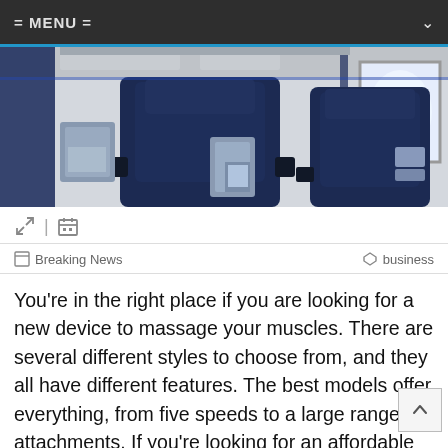= MENU =
[Figure (photo): Interior of an airplane cabin showing dark navy blue business class seats, overhead panels, and a window with natural light on the right side.]
Breaking News    business
You're in the right place if you are looking for a new device to massage your muscles. There are several different styles to choose from, and they all have different features. The best models offer everything, from five speeds to a large range of attachments. If you're looking for an affordable option, try the Renpho Back Massager. Although it is compact and quiet the Renpho does not offer the same level of power as larger models